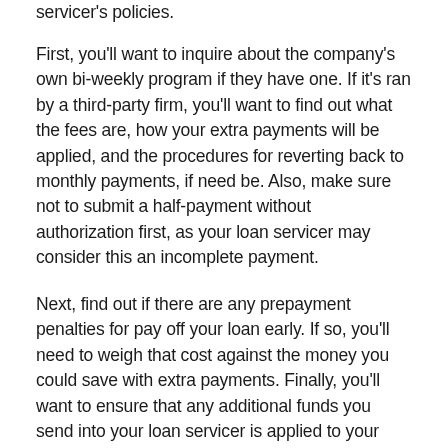servicer's policies.
First, you'll want to inquire about the company's own bi-weekly program if they have one. If it's ran by a third-party firm, you'll want to find out what the fees are, how your extra payments will be applied, and the procedures for reverting back to monthly payments, if need be. Also, make sure not to submit a half-payment without authorization first, as your loan servicer may consider this an incomplete payment.
Next, find out if there are any prepayment penalties for pay off your loan early. If so, you'll need to weigh that cost against the money you could save with extra payments. Finally, you'll want to ensure that any additional funds you send into your loan servicer is applied to your outstanding loan principal and not to principal